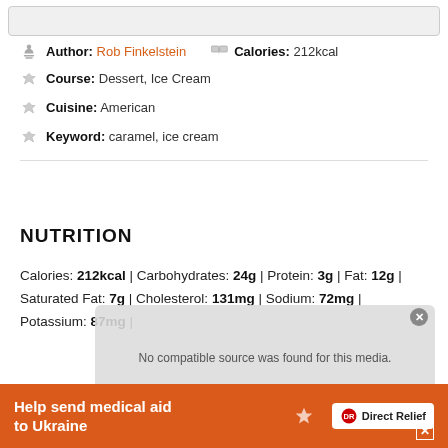Author: Rob Finkelstein | Calories: 212kcal
Course: Dessert, Ice Cream
Cuisine: American
Keyword: caramel, ice cream
NUTRITION
Calories: 212kcal | Carbohydrates: 24g | Protein: 3g | Fat: 12g | Saturated Fat: 7g | Cholesterol: 131mg | Sodium: 72mg | Potassium: 87mg |